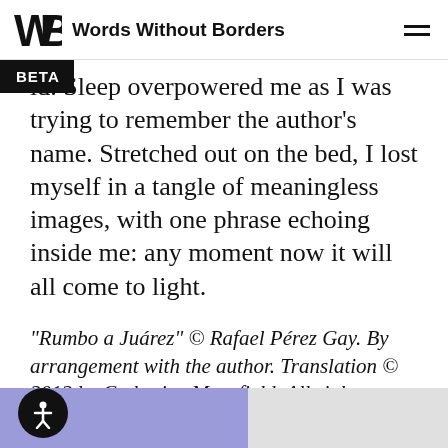Words Without Borders
ld. Sleep overpowered me as I was trying to remember the author's name. Stretched out on the bed, I lost myself in a tangle of meaningless images, with one phrase echoing inside me: any moment now it will all come to light.
“Rumbo a Juárez” © Rafael Pérez Gay. By arrangement with the author. Translation © 2012 by Catherine Mansfield. All rights reserved.